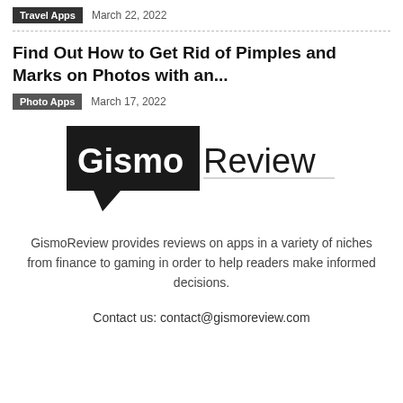Travel Apps   March 22, 2022
Find Out How to Get Rid of Pimples and Marks on Photos with an...
Photo Apps   March 17, 2022
[Figure (logo): GismoReview logo — black speech-bubble rectangle containing white 'Gismo' text, next to dark 'Review' text with a horizontal underline]
GismoReview provides reviews on apps in a variety of niches from finance to gaming in order to help readers make informed decisions.
Contact us: contact@gismoreview.com